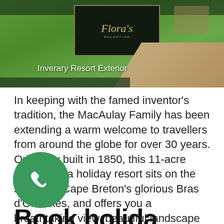[Figure (photo): Inverary Resort exterior photo showing a sign reading Flora's with lush green trees and a stone walkway]
Inverary Resort Exterior
In keeping with the famed inventor's tradition, the MacAulay Family has been extending a warm welcome to travellers from around the globe for over 30 years. Originally built in 1850, this 11-acre Nova Scotia holiday resort sits on the shores of Cape Breton's glorious Bras d'Or Lakes, and offers you a breathtaking view, beautiful landscape and a variety of accommodations, including hotel and cottages. Bask in the sun on our expansive waterfront boardwalk, spend a day at the spa or relax by the indoor pool. Join the local entertainers at the Thistledown Pub for some sing-a-long, foot stomping fun!
[Figure (other): Green circular phone/call button]
Book holiday...